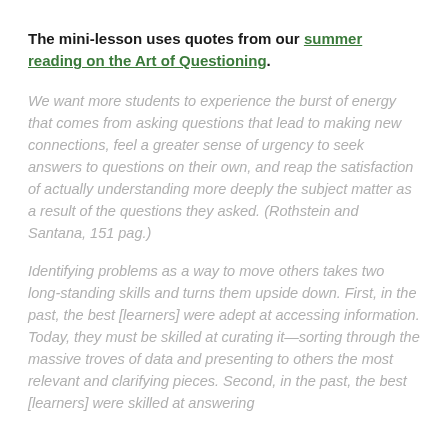The mini-lesson uses quotes from our summer reading on the Art of Questioning.
We want more students to experience the burst of energy that comes from asking questions that lead to making new connections, feel a greater sense of urgency to seek answers to questions on their own, and reap the satisfaction of actually understanding more deeply the subject matter as a result of the questions they asked. (Rothstein and Santana, 151 pag.)
Identifying problems as a way to move others takes two long-standing skills and turns them upside down. First, in the past, the best [learners] were adept at accessing information. Today, they must be skilled at curating it—sorting through the massive troves of data and presenting to others the most relevant and clarifying pieces. Second, in the past, the best [learners] were skilled at answering